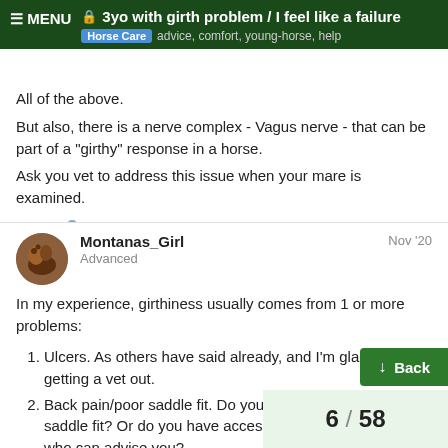3yo with girth problem / I feel like a failure — Horse Care — advice, comfort, young-horse, help
All of the above.
But also, there is a nerve complex - Vagus nerve - that can be part of a "girthy" response in a horse.
Ask you vet to address this issue when your mare is examined.
Montanas_Girl  Advanced  Nov '20
In my experience, girthiness usually comes from 1 or more problems:
Ulcers. As others have said already, and I'm glad you're getting a vet out.
Back pain/poor saddle fit. Do you know how to check saddle fit? Or do you have access to a good saddle fitter who can advise you?
Front foot pain. A very good lamene…